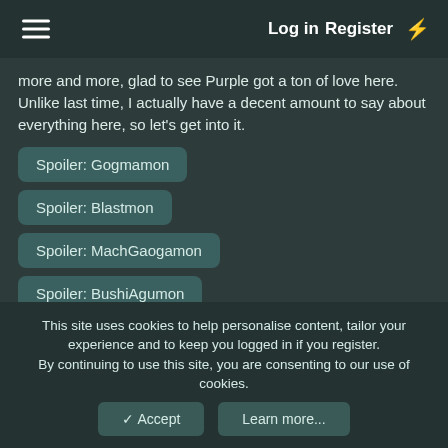Log in  Register
more and more, glad to see Purple got a ton of love here. Unlike last time, I actually have a decent amount to say about everything here, so let's get into it.
Spoiler: Gogmamon
Spoiler: Blastmon
Spoiler: MachGaogamon
Spoiler: BushiAgumon
Spoiler: Cerberusmon
Spoiler: Cerberusmon Werewolf Mode
Spoiler: Anubismon
This site uses cookies to help personalise content, tailor your experience and to keep you logged in if you register.
By continuing to use this site, you are consenting to our use of cookies.
✓ Accept   Learn more...